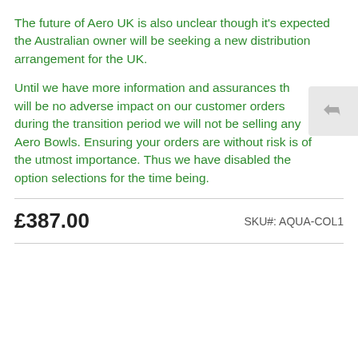The future of Aero UK is also unclear though it's expected the Australian owner will be seeking a new distribution arrangement for the UK.
Until we have more information and assurances that there will be no adverse impact on our customer orders during the transition period we will not be selling any Aero Bowls. Ensuring your orders are without risk is of the utmost importance. Thus we have disabled the option selections for the time being.
£387.00
SKU#: AQUA-COL1